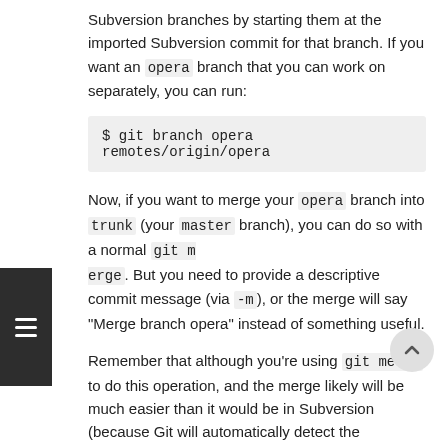Subversion branches by starting them at the imported Subversion commit for that branch. If you want an opera branch that you can work on separately, you can run:
$ git branch opera remotes/origin/opera
Now, if you want to merge your opera branch into trunk (your master branch), you can do so with a normal git merge. But you need to provide a descriptive commit message (via -m), or the merge will say "Merge branch opera" instead of something useful.
Remember that although you're using git merge to do this operation, and the merge likely will be much easier than it would be in Subversion (because Git will automatically detect the appropriate merge base for you), this isn't a normal Git merge commit. You have to push this data back to a Subversion server that can't handle a commit that tracks more than one parent; so, after you push it up, it will look like a single commit that squashed in all the work of another branch under a single commit. After you merge one branch into another, you can't easily go back and continue working